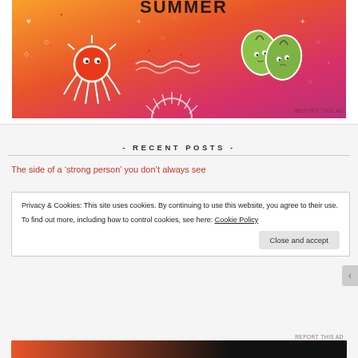[Figure (illustration): Colorful advertisement banner with gradient orange-to-pink background featuring cartoon characters: a red sun/octopus creature on the left, decorative doodles in the center, and two green leaf/heart characters on the right. White decorative elements throughout.]
REPORT THIS AD
- RECENT POSTS -
The side of a 'strong person' you don't always see
Privacy & Cookies: This site uses cookies. By continuing to use this website, you agree to their use.
To find out more, including how to control cookies, see here: Cookie Policy
REPORT THIS AD